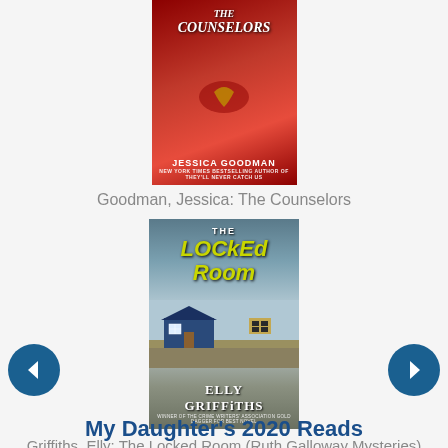[Figure (photo): Book cover of 'The Counselors' by Jessica Goodman — red cover with a necklace, thriller novel]
Goodman, Jessica: The Counselors
[Figure (photo): Book cover of 'The Locked Room' by Elly Griffiths — dark cover with blue house, fields, misty sky, Ruth Galloway Mysteries]
Griffiths, Elly: The Locked Room (Ruth Galloway Mysteries)
[Figure (other): Left navigation arrow button (dark teal circle with left arrow)]
[Figure (other): Right navigation arrow button (dark teal circle with right arrow)]
My Daughter's 2020 Reads